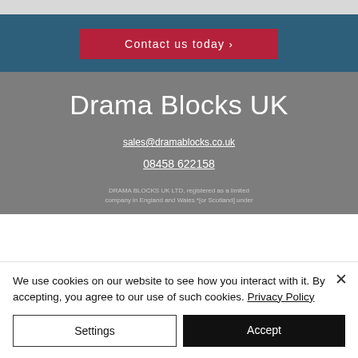[Figure (screenshot): Top gray bar]
Contact us today ›
Drama Blocks UK
sales@dramablocks.co.uk
08458 622158
DRAMA BLOCKS UK LTD, registered as a limited company in England and Wales *[or Scotland] under
We use cookies on our website to see how you interact with it. By accepting, you agree to our use of such cookies. Privacy Policy
Settings
Accept